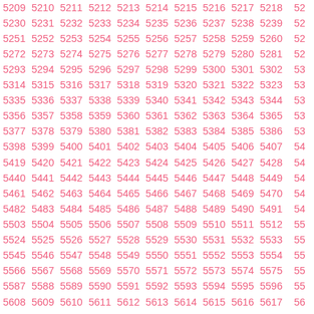| 5209 | 5210 | 5211 | 5212 | 5213 | 5214 | 5215 | 5216 | 5217 | 5218 | 52… |
| 5230 | 5231 | 5232 | 5233 | 5234 | 5235 | 5236 | 5237 | 5238 | 5239 | 52… |
| 5251 | 5252 | 5253 | 5254 | 5255 | 5256 | 5257 | 5258 | 5259 | 5260 | 52… |
| 5272 | 5273 | 5274 | 5275 | 5276 | 5277 | 5278 | 5279 | 5280 | 5281 | 52… |
| 5293 | 5294 | 5295 | 5296 | 5297 | 5298 | 5299 | 5300 | 5301 | 5302 | 53… |
| 5314 | 5315 | 5316 | 5317 | 5318 | 5319 | 5320 | 5321 | 5322 | 5323 | 53… |
| 5335 | 5336 | 5337 | 5338 | 5339 | 5340 | 5341 | 5342 | 5343 | 5344 | 53… |
| 5356 | 5357 | 5358 | 5359 | 5360 | 5361 | 5362 | 5363 | 5364 | 5365 | 53… |
| 5377 | 5378 | 5379 | 5380 | 5381 | 5382 | 5383 | 5384 | 5385 | 5386 | 53… |
| 5398 | 5399 | 5400 | 5401 | 5402 | 5403 | 5404 | 5405 | 5406 | 5407 | 54… |
| 5419 | 5420 | 5421 | 5422 | 5423 | 5424 | 5425 | 5426 | 5427 | 5428 | 54… |
| 5440 | 5441 | 5442 | 5443 | 5444 | 5445 | 5446 | 5447 | 5448 | 5449 | 54… |
| 5461 | 5462 | 5463 | 5464 | 5465 | 5466 | 5467 | 5468 | 5469 | 5470 | 54… |
| 5482 | 5483 | 5484 | 5485 | 5486 | 5487 | 5488 | 5489 | 5490 | 5491 | 54… |
| 5503 | 5504 | 5505 | 5506 | 5507 | 5508 | 5509 | 5510 | 5511 | 5512 | 55… |
| 5524 | 5525 | 5526 | 5527 | 5528 | 5529 | 5530 | 5531 | 5532 | 5533 | 55… |
| 5545 | 5546 | 5547 | 5548 | 5549 | 5550 | 5551 | 5552 | 5553 | 5554 | 55… |
| 5566 | 5567 | 5568 | 5569 | 5570 | 5571 | 5572 | 5573 | 5574 | 5575 | 55… |
| 5587 | 5588 | 5589 | 5590 | 5591 | 5592 | 5593 | 5594 | 5595 | 5596 | 55… |
| 5608 | 5609 | 5610 | 5611 | 5612 | 5613 | 5614 | 5615 | 5616 | 5617 | 56… |
| 5629 | 5630 | 5631 | 5632 | 5633 | 5634 | 5635 | 5636 | 5637 | 5638 | 56… |
| 5650 | 5651 | 5652 | 5653 | 5654 | 5655 | 5656 | 5657 | 5658 | 5659 | 56… |
| 5671 | 5672 | 5673 | 5674 | 5675 | 5676 | 5677 | 5678 | 5679 | 5680 | 56… |
| 5692 | 5693 | 5694 | 5695 | 5696 | 5697 | 5698 | 5699 | 5700 | 5701 | 57… |
| 5713 | 5714 | 5715 | 5716 | 5717 | 5718 | 5719 | 5720 | 5721 | 5721 | 57… |